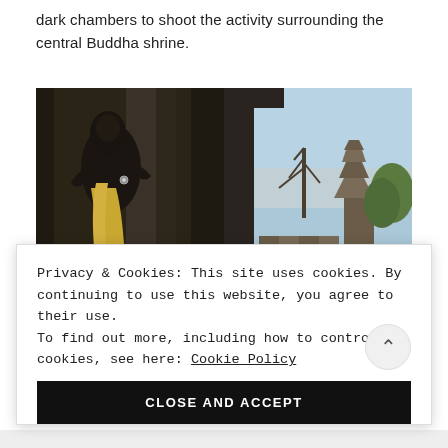dark chambers to shoot the activity surrounding the central Buddha shrine.
[Figure (photo): Two side-by-side photos: left shows a dark statue/Buddha figure with yellow fabric in a dim stone chamber; right shows a temple tower and trees against a blue sky viewed from a stone doorway or arch.]
Privacy & Cookies: This site uses cookies. By continuing to use this website, you agree to their use.
To find out more, including how to control cookies, see here: Cookie Policy
CLOSE AND ACCEPT